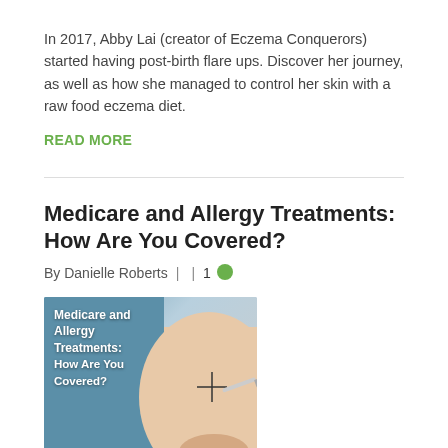In 2017, Abby Lai (creator of Eczema Conquerors) started having post-birth flare ups. Discover her journey, as well as how she managed to control her skin with a raw food eczema diet.
READ MORE
Medicare and Allergy Treatments: How Are You Covered?
By Danielle Roberts  |  | 1
[Figure (photo): Article thumbnail image showing a person's arm with allergy skin-prick test marks and a needle, overlaid with bold blue text reading 'Medicare and Allergy Treatments: How Are You Covered?']